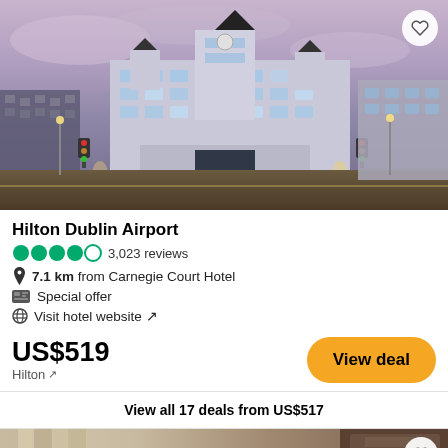[Figure (photo): Exterior night/dusk photo of the Hilton Dublin Airport hotel building with illuminated facades and busy road in foreground]
Hilton Dublin Airport
3,023 reviews
7.1 km from Carnegie Court Hotel
Special offer
Visit hotel website ↗
US$519
Hilton ↗
View deal
View all 17 deals from US$517
[Figure (photo): Partial interior room photo of what appears to be a hotel room with curtains and furniture visible]